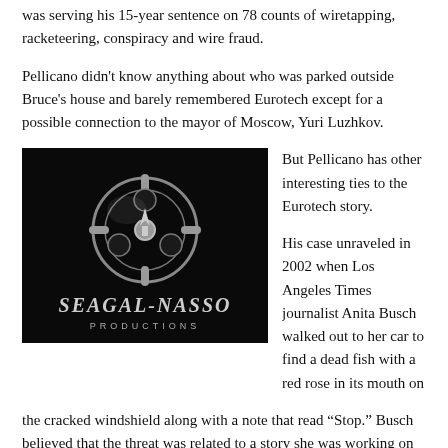was serving his 15-year sentence on 78 counts of wiretapping, racketeering, conspiracy and wire fraud.
Pellicano didn't know anything about who was parked outside Bruce's house and barely remembered Eurotech except for a possible connection to the mayor of Moscow, Yuri Luzhkov.
[Figure (photo): Dark background image showing a metallic film reel logo with the text 'SEAGAL-NASSO PRODUCTIONS' below it in silver lettering.]
But Pellicano has other interesting ties to the Eurotech story.
His case unraveled in 2002 when Los Angeles Times journalist Anita Busch walked out to her car to find a dead fish with a red rose in its mouth on the cracked windshield along with a note that read “Stop.” Busch believed that the threat was related to a story she was working on involving a dispute between actor Steven Seagal and his former producer, Julius R. Nasso. The FBI soon learned that Pellicano was behind the fish